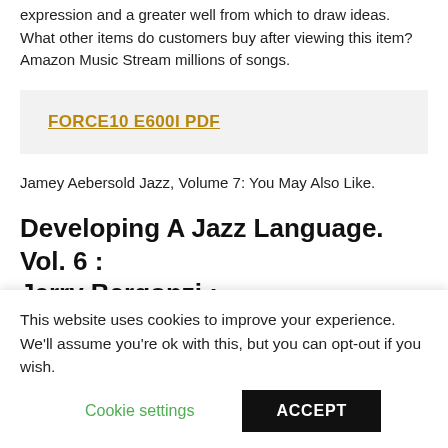expression and a greater well from which to draw ideas. What other items do customers buy after viewing this item? Amazon Music Stream millions of songs.
FORCE10 E600I PDF
Jamey Aebersold Jazz, Volume 7: You May Also Like.
Developing A Jazz Language. Vol. 6 : Jerry Bergonzi :
There was a problem filtering reviews right now. There's a
This website uses cookies to improve your experience. We'll assume you're ok with this, but you can opt-out if you wish.
Cookie settings
ACCEPT